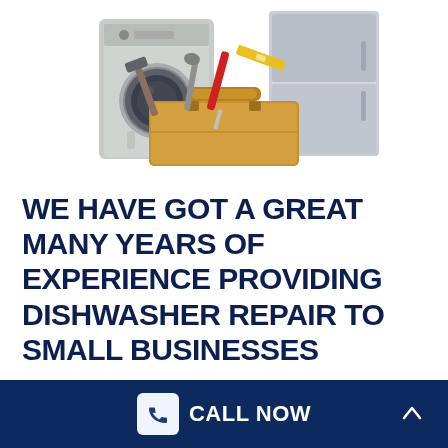[Figure (illustration): Photo of appliances (washing machine and refrigerator) with a wooden toolbox filled with tools (hammer, wrench, screwdriver, level) in front]
WE HAVE GOT A GREAT MANY YEARS OF EXPERIENCE PROVIDING DISHWASHER REPAIR TO SMALL BUSINESSES
CALL NOW